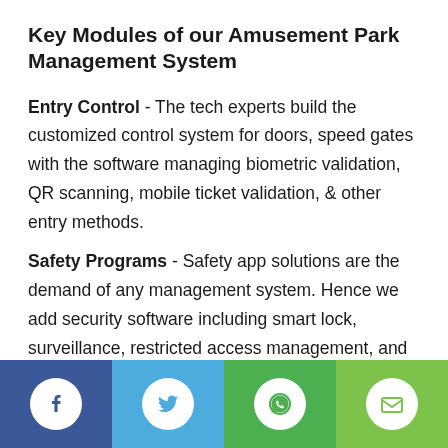Key Modules of our Amusement Park Management System
Entry Control - The tech experts build the customized control system for doors, speed gates with the software managing biometric validation, QR scanning, mobile ticket validation, & other entry methods.
Safety Programs - Safety app solutions are the demand of any management system. Hence we add security software including smart lock, surveillance, restricted access management, and more.
[Figure (infographic): Footer bar with four social media icons: Facebook (dark blue), Twitter (light blue), WhatsApp (green), Email (light green)]